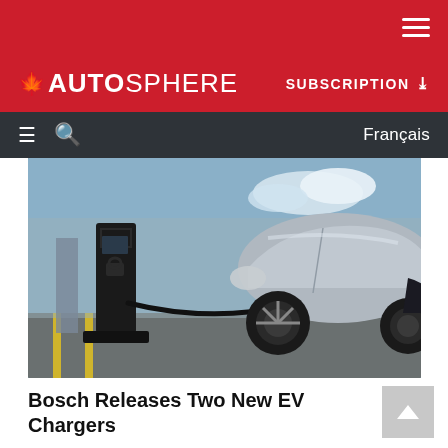AUTOSPHERE — SUBSCRIPTION — Français
[Figure (photo): Electric vehicle being charged at an EV charging station. A black charging pedestal is visible on the left, with a charging cable connected to a silver/grey electric car on the right. Indoor/covered parking setting with yellow lane markings on the floor.]
Bosch Releases Two New EV Chargers